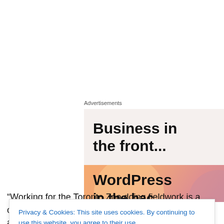Advertisements
[Figure (illustration): WordPress advertisement banner. Top half: light beige background with bold black text 'Business in the front...'. Bottom half: orange-pink gradient background with bold black text 'WordPress in the back...' partially visible.]
“Working for the Toronto Zoo doing fieldwork is a dream
Privacy & Cookies: This site uses cookies. By continuing to use this website, you agree to their use.
To find out more, including how to control cookies, see here: Cookie Policy
cherish. I’m so lucky to work with many passionate and